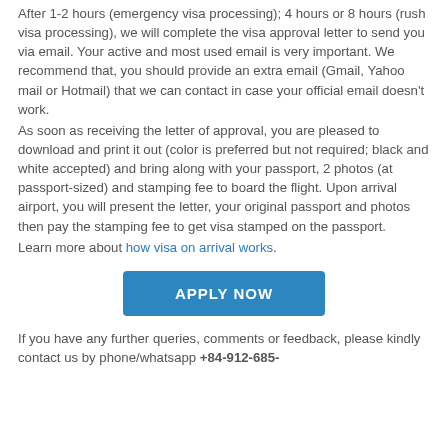After 1-2 hours (emergency visa processing); 4 hours or 8 hours (rush visa processing), we will complete the visa approval letter to send you via email. Your active and most used email is very important. We recommend that, you should provide an extra email (Gmail, Yahoo mail or Hotmail) that we can contact in case your official email doesn't work.
As soon as receiving the letter of approval, you are pleased to download and print it out (color is preferred but not required; black and white accepted) and bring along with your passport, 2 photos (at passport-sized) and stamping fee to board the flight. Upon arrival airport, you will present the letter, your original passport and photos then pay the stamping fee to get visa stamped on the passport.
Learn more about how visa on arrival works.
[Figure (other): Blue 'APPLY NOW' button]
If you have any further queries, comments or feedback, please kindly contact us by phone/whatsapp +84-912-685-